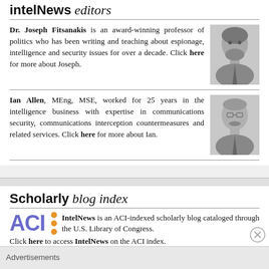intelNews editors
Dr. Joseph Fitsanakis is an award-winning professor of politics who has been writing and teaching about espionage, intelligence and security issues for over a decade. Click here for more about Joseph.
[Figure (photo): Headshot photo of Dr. Joseph Fitsanakis]
Ian Allen, MEng, MSE, worked for 25 years in the intelligence business with expertise in communications security, communications interception countermeasures and related services. Click here for more about Ian.
[Figure (photo): Headshot photo of Ian Allen]
Scholarly blog index
[Figure (logo): ACI logo in purple with orange bullet dots]
IntelNews is an ACI-indexed scholarly blog cataloged through the U.S. Library of Congress. Click here to access IntelNews on the ACI index.
Advertisements